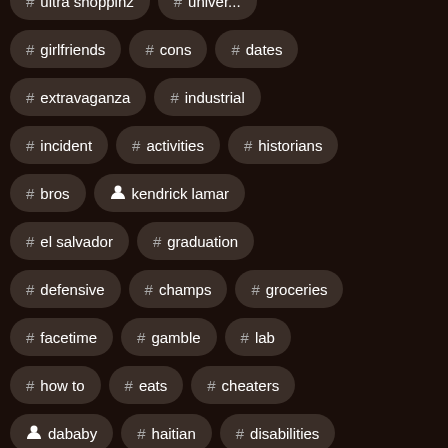# girlfriends
# cons
# dates
# extravaganza
# industrial
# incident
# activities
# historians
# bros
👤 kendrick lamar
# el salvador
# graduation
# defensive
# champs
# groceries
# facetime
# gamble
# lab
# how to
# eats
# cheaters
👤 dababy
# haitian
# disabilities